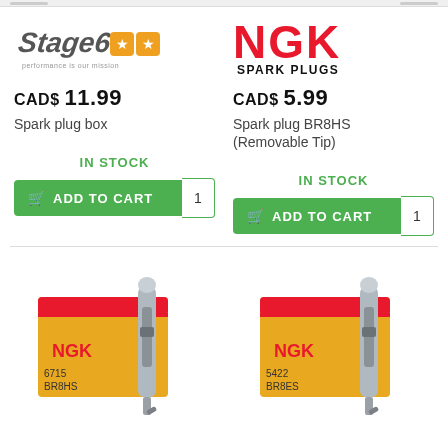[Figure (logo): Stage6 logo with two orange stars and text 'performance is our mission']
CAD$ 11.99
Spark plug box
IN STOCK
[Figure (logo): NGK Spark Plugs logo in red and black]
CAD$ 5.99
Spark plug BR8HS (Removable Tip)
IN STOCK
[Figure (photo): NGK spark plug box 6715 BR8HS with spark plug, yellow and orange box]
[Figure (photo): NGK spark plug box 5422 BR8ES with spark plug, yellow and orange box]